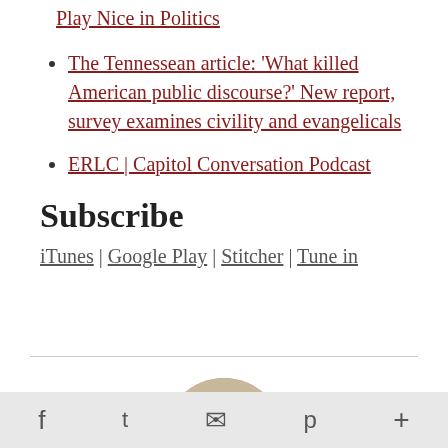Play Nice in Politics
The Tennessean article: 'What killed American public discourse?' New report, survey examines civility and evangelicals
ERLC | Capitol Conversation Podcast
Subscribe
iTunes | Google Play | Stitcher | Tune in
[Figure (photo): Circular portrait photo of a man with short gray-brown hair, smiling]
Facebook | Twitter | Email | Pinterest | More